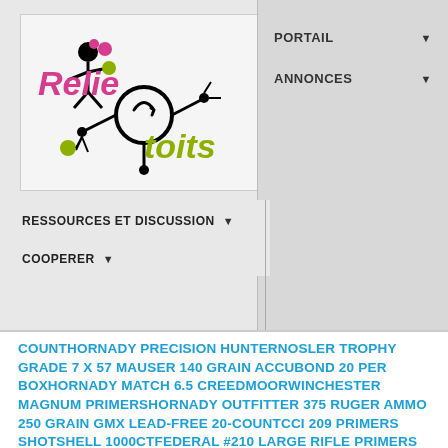[Figure (logo): Relie2toits logo with stylized text 'Relie' in pink/magenta italic and 'toits' in olive/yellow-green italic, with a cartoon figure and circular network icon in black connecting them]
PORTAIL ▼
ANNONCES ▼
RESSOURCES ET DISCUSSION ▼
COOPERER ▼
COUNTHORNADY PRECISION HUNTERNOSLER TROPHY GRADE 7 X 57 MAUSER 140 GRAIN ACCUBOND 20 PER BOXHORNADY MATCH 6.5 CREEDMOORWINCHESTER MAGNUM PRIMERSHORNADY OUTFITTER 375 RUGER AMMO 250 GRAIN GMX LEAD-FREE 20-COUNTCCI 209 PRIMERS SHOTSHELL 1000CTFEDERAL #210 LARGE RIFLE PRIMERS 2000CTSREMINGTON #9 1/2 LARGE RIFLE PRIMERS 5000CTSCCI 500 SMALL PISTOL PRIMERSWI LD LARGE RIFLE PRIMERS